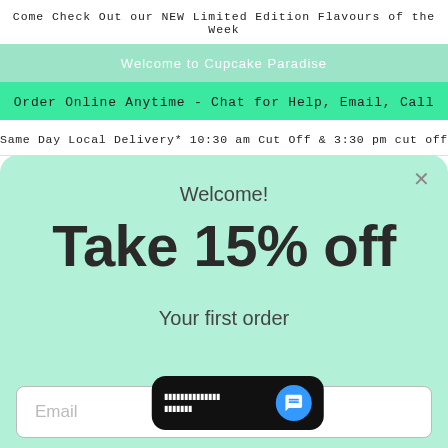Come Check Out our NEW Limited Edition Flavours of the Week
Welcome to Cupcake Paradise
Order Online Anytime - Chat for Help, Email, Call
Same Day Local Delivery* 10:30 am Cut Off & 3:30 pm cut off
Welcome!
Take 15% off
Your first order
Email